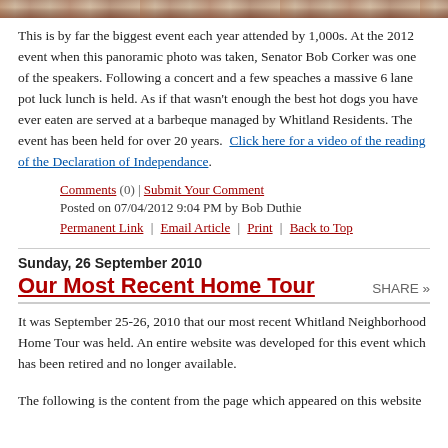[Figure (photo): Top portion of a panoramic photo showing a large crowd event, cropped at the top of the page]
This is by far the biggest event each year attended by 1,000s. At the 2012 event when this panoramic photo was taken, Senator Bob Corker was one of the speakers. Following a concert and a few speaches a massive 6 lane pot luck lunch is held. As if that wasn't enough the best hot dogs you have ever eaten are served at a barbeque managed by Whitland Residents. The event has been held for over 20 years.  Click here for a video of the reading of the Declaration of Independance.
Comments (0) | Submit Your Comment
Posted on 07/04/2012 9:04 PM by Bob Duthie
Permanent Link | Email Article | Print | Back to Top
Sunday, 26 September 2010
Our Most Recent Home Tour
It was September 25-26, 2010 that our most recent Whitland Neighborhood Home Tour was held. An entire website was developed for this event which has been retired and no longer available.
The following is the content from the page which appeared on this website